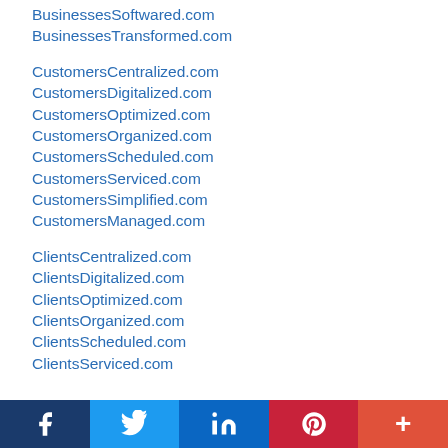BusinessesSoftwared.com
BusinessesTransformed.com
CustomersCentralized.com
CustomersDigitalized.com
CustomersOptimized.com
CustomersOrganized.com
CustomersScheduled.com
CustomersServiced.com
CustomersSimplified.com
CustomersManaged.com
ClientsCentralized.com
ClientsDigitalized.com
ClientsOptimized.com
ClientsOrganized.com
ClientsScheduled.com
ClientsServiced.com
f  t  in  P  +